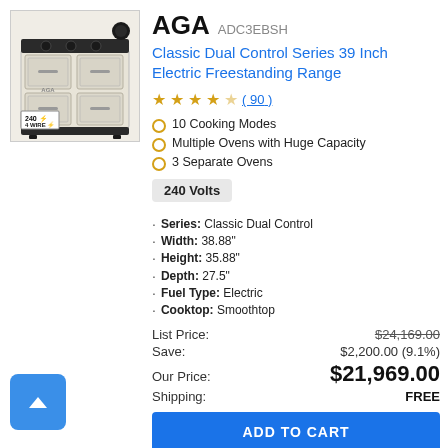[Figure (photo): AGA Classic Dual Control Series 39 Inch Electric Freestanding Range in cream/beige color, with a badge reading '240 4 WIRE' in the bottom left corner]
AGA ADC3EBSH
Classic Dual Control Series 39 Inch Electric Freestanding Range
★★★★☆ (90)
10 Cooking Modes
Multiple Ovens with Huge Capacity
3 Separate Ovens
240 Volts
Series: Classic Dual Control
Width: 38.88"
Height: 35.88"
Depth: 27.5"
Fuel Type: Electric
Cooktop: Smoothtop
| Label | Price |
| --- | --- |
| List Price: | $24,169.00 |
| Save: | $2,200.00 (9.1%) |
| Our Price: | $21,969.00 |
| Shipping: | FREE |
ADD TO CART